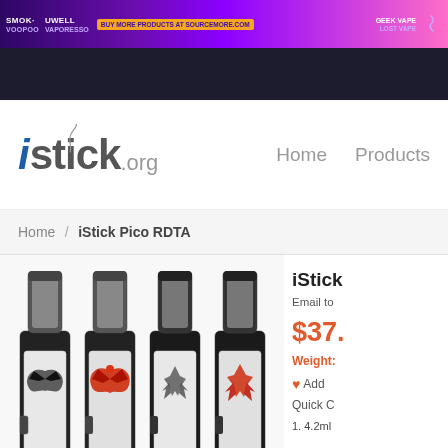[Figure (screenshot): Website banner advertisement with brand logos (SMOK, UWELL, VOOPOO, VAPORESSO, GEEK VAPE, LOST VAPE) and text 'BUY MORE PRODUCTS AT SOURCEMORE.COM']
[Figure (logo): iStick.org website logo with smoke graphic, blue italic i, gray stick text, .org suffix]
Home    Products
Home / iStick Pico RDTA
[Figure (photo): Four iStick Pico RDTA vape devices with different decorative designs: eagle (black and white), red eagle, tribal (black), red tribal pattern]
iStick
Email to
$37.
Weight:
♥ Add
Quick C
1. 4.2ml